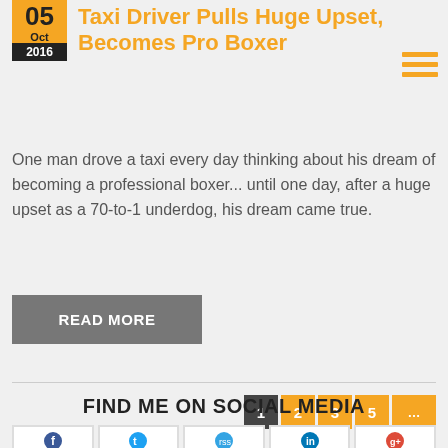Taxi Driver Pulls Huge Upset, Becomes Pro Boxer
One man drove a taxi every day thinking about his dream of becoming a professional boxer... until one day, after a huge upset as a 70-to-1 underdog, his dream came true.
READ MORE
1 2 3 5 ... Next »
FIND ME ON SOCIAL MEDIA